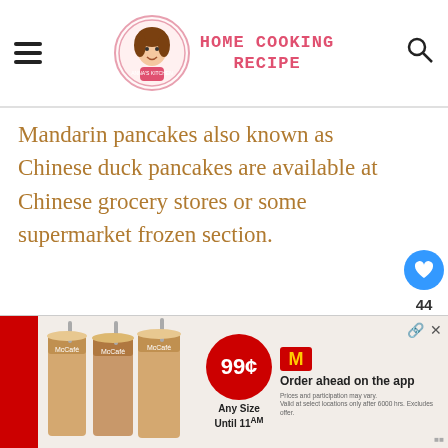HOME COOKING RECIPE
Mandarin pancakes also known as Chinese duck pancakes are available at Chinese grocery stores or some supermarket frozen section.
Can you reheat hoisin duck?
Yes, you can reheat the whole duck breast by wrapping it with foil to prevent it fro...
[Figure (other): McDonald's McCafe advertisement showing three iced coffee drinks, 99 cents any size until 11AM, order ahead on the app.]